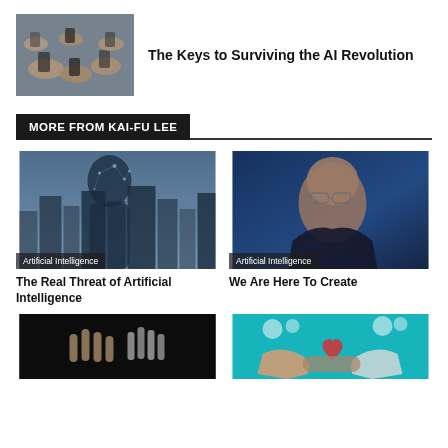[Figure (photo): People holding smartphones in a group, top-down view]
The Keys to Surviving the AI Revolution
MORE FROM KAI-FU LEE
[Figure (photo): Silhouette of woman merged with AI digital brain network overlay over cityscape]
Artificial Intelligence
The Real Threat of Artificial Intelligence
[Figure (photo): Portrait of Kai-Fu Lee against blue background]
Artificial Intelligence
We Are Here To Create
[Figure (photo): Robotic hand touching human hand in dark background]
[Figure (illustration): Colorful illustration of human and robot hands with heart symbol on teal background]